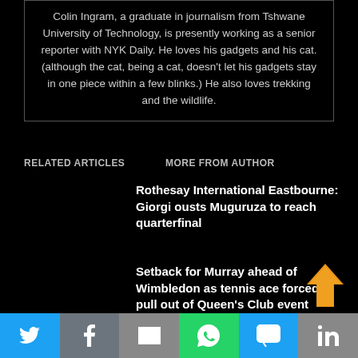Colin Ingram, a graduate in journalism from Tshwane University of Technology, is presently working as a senior reporter with NYK Daily. He loves his gadgets and his cat. (although the cat, being a cat, doesn't let his gadgets stay in one piece within a few blinks.) He also loves trekking and the wildlife.
RELATED ARTICLES   MORE FROM AUTHOR
Rothesay International Eastbourne: Giorgi ousts Muguruza to reach quarterfinal
Setback for Murray ahead of Wimbledon as tennis ace forced to pull out of Queen's Club event